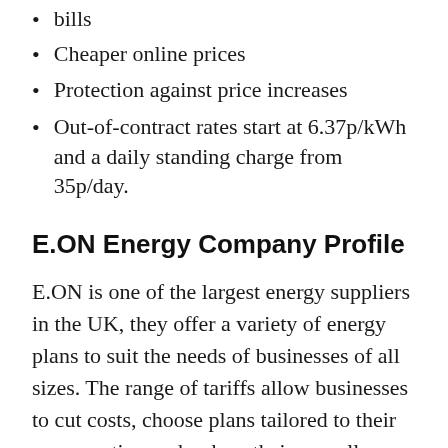bills
Cheaper online prices
Protection against price increases
Out-of-contract rates start at 6.37p/kWh and a daily standing charge from 35p/day.
E.ON Energy Company Profile
E.ON is one of the largest energy suppliers in the UK, they offer a variety of energy plans to suit the needs of businesses of all sizes. The range of tariffs allow businesses to cut costs, choose plans tailored to their consumption and reduce their overall emissions. Environment conscious